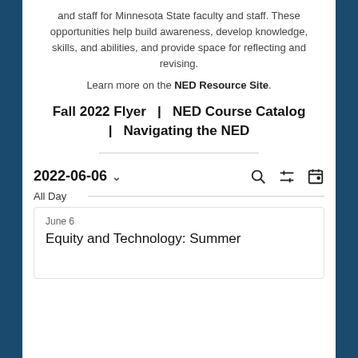and staff for Minnesota State faculty and staff. These opportunities help build awareness, develop knowledge, skills, and abilities, and provide space for reflecting and revising.
Learn more on the NED Resource Site.
Fall 2022 Flyer | NED Course Catalog | Navigating the NED
2022-06-06
All Day
June 6
Equity and Technology: Summer